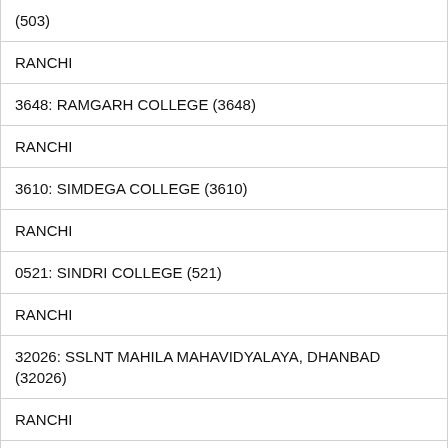| (503) |
| RANCHI |
| 3648: RAMGARH COLLEGE (3648) |
| RANCHI |
| 3610: SIMDEGA COLLEGE (3610) |
| RANCHI |
| 0521: SINDRI COLLEGE (521) |
| RANCHI |
| 32026: SSLNT MAHILA MAHAVIDYALAYA, DHANBAD (32026) |
| RANCHI |
| 0528: ST. COLUMBA'S COLLEGE, HAZARIBAGH |